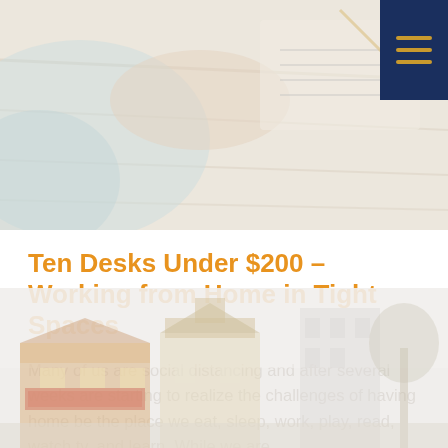[Figure (photo): A person writing or working at a wooden desk, photographed from above at an angle. Light blue fabric visible. Faded/washed-out tone.]
Ten Desks Under $200 – Working from Home in Tight Spaces
Many of us are social distancing and after several weeks are starting to realize the challenges of having home be the place we eat, sleep, work, play, read, watch tv, and learn. While we are…
[Figure (photo): Street scene with commercial buildings including what appears to be a Good Times Burgers restaurant. Overcast/hazy sky. Faded tone.]